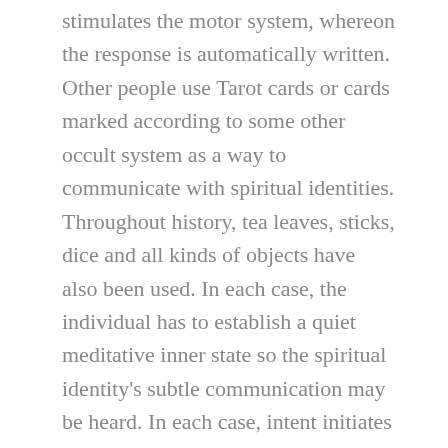stimulates the motor system, whereon the response is automatically written. Other people use Tarot cards or cards marked according to some other occult system as a way to communicate with spiritual identities. Throughout history, tea leaves, sticks, dice and all kinds of objects have also been used. In each case, the individual has to establish a quiet meditative inner state so the spiritual identity's subtle communication may be heard. In each case, intent initiates contact.
Our scribe's process is a variation on these practices. At first, as he edited a colleague's written channelled communications, he intended to make contact by deliberately opening himself up to guidance from those who